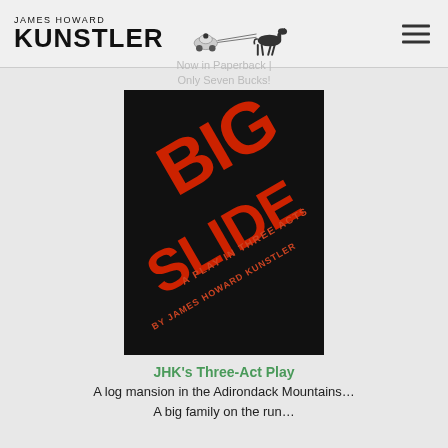JAMES HOWARD KUNSTLER
Now in Paperback | Only Seven Bucks!
[Figure (illustration): Book cover for 'Big Slide: A Play in Three Acts by James Howard Kunstler'. Black background with large red diagonal bold text reading 'BIG SLIDE', subtitle 'A Play in Three Acts' and author name 'By James Howard Kunstler' in red on a diagonal.]
JHK's Three-Act Play
A log mansion in the Adirondack Mountains…
A big family on the run…